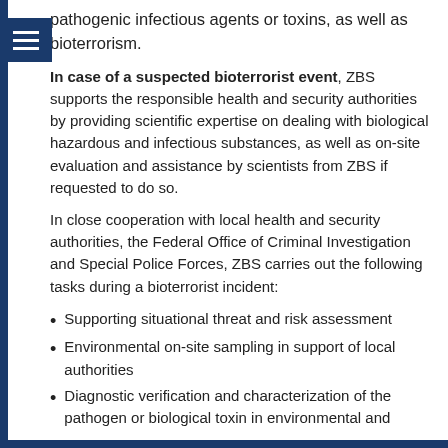pathogenic infectious agents or toxins, as well as bioterrorism.
In case of a suspected bioterrorist event, ZBS supports the responsible health and security authorities by providing scientific expertise on dealing with biological hazardous and infectious substances, as well as on-site evaluation and assistance by scientists from ZBS if requested to do so.
In close cooperation with local health and security authorities, the Federal Office of Criminal Investigation and Special Police Forces, ZBS carries out the following tasks during a bioterrorist incident:
Supporting situational threat and risk assessment
Environmental on-site sampling in support of local authorities
Diagnostic verification and characterization of the pathogen or biological toxin in environmental and